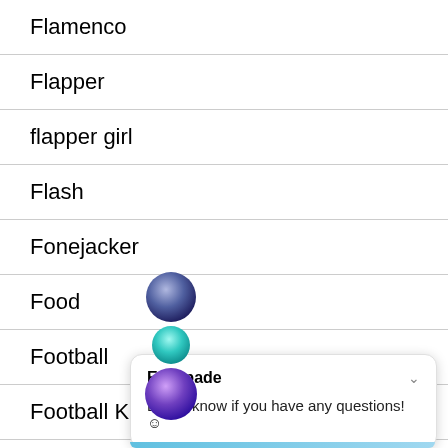Flamenco
Flapper
flapper girl
Flash
Fonejacker
Food
Football
Football Kit
Formul…
[Figure (screenshot): Chat widget overlay with icons and message: Escapade — Let us know if you have any questions!]